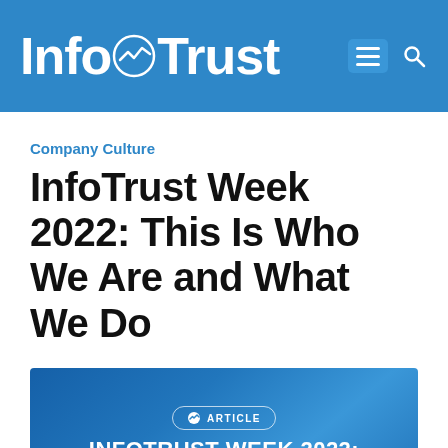InfoTrust
Company Culture
InfoTrust Week 2022: This Is Who We Are and What We Do
[Figure (infographic): Blue gradient article card with ARTICLE badge, bold white text reading INFOTRUST WEEK 2022: and subtitle THIS IS WHO WE ARE AND WHAT WE DO]